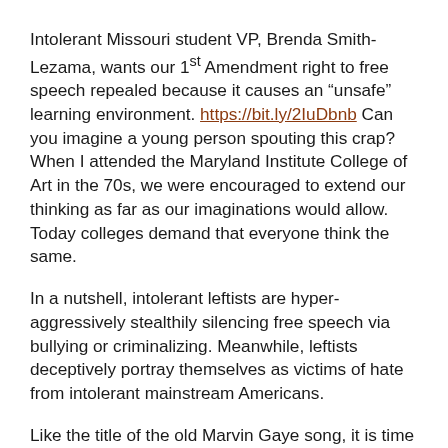Intolerant Missouri student VP, Brenda Smith-Lezama, wants our 1st Amendment right to free speech repealed because it causes an “unsafe” learning environment. https://bit.ly/2IuDbnb Can you imagine a young person spouting this crap? When I attended the Maryland Institute College of Art in the 70s, we were encouraged to extend our thinking as far as our imaginations would allow. Today colleges demand that everyone think the same.
In a nutshell, intolerant leftists are hyper-aggressively stealthily silencing free speech via bullying or criminalizing. Meanwhile, leftists deceptively portray themselves as victims of hate from intolerant mainstream Americans.
Like the title of the old Marvin Gaye song, it is time for the American people to realize, “What’s Going On.” Now that you know, it is time for Americans to stand.
Lloyd Marcus, The Unhyphenated American
Help Lloyd spread the Truth: http://bit.ly/2kZqmUk